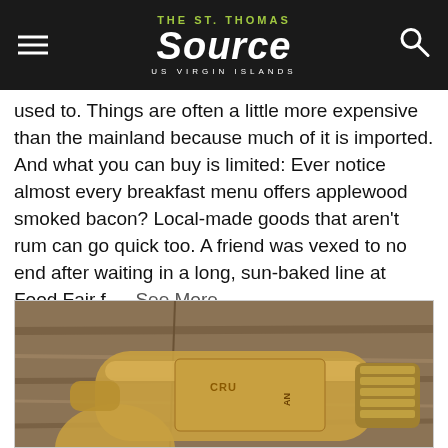THE St. Thomas SOURCE US VIRGIN ISLANDS
used to. Things are often a little more expensive than the mainland because much of it is imported. And what you can buy is limited: Ever notice almost every breakfast menu offers applewood smoked bacon? Local-made goods that aren't rum can go quick too. A friend was vexed to no end after waiting in a long, sun-baked line at Food Fair f ... See More
[Figure (photo): Close-up photo of a Cruzan rum bottle lying on its side on a wooden surface. The bottle is amber/gold colored and the Cruzan label is partially visible. The cap is gold colored metal.]